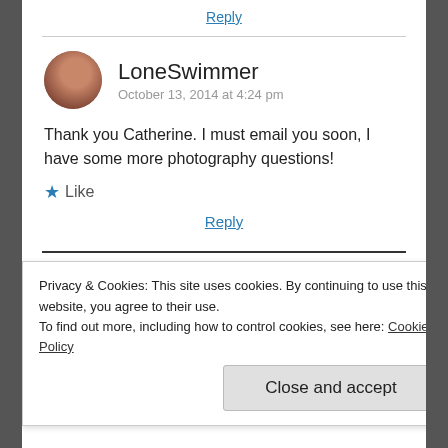Reply
LoneSwimmer
October 13, 2014 at 4:24 pm
Thank you Catherine. I must email you soon, I have some more photography questions!
★ Like
Reply
Privacy & Cookies: This site uses cookies. By continuing to use this website, you agree to their use.
To find out more, including how to control cookies, see here: Cookie Policy
Close and accept